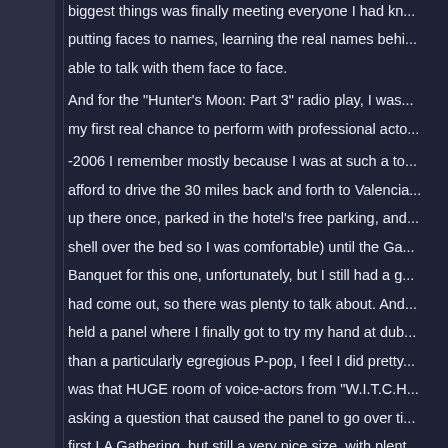biggest things was finally meeting everyone I had kn... putting faces to names, learning the real names behi... able to talk with them face to face. And for the "Hunter's Moon: Part 3" radio play, I was... my first real chance to perform with professional acto... -2006 I remember mostly because I was at such a to... afford to drive the 30 miles back and forth to Valencia... up there once, parked in the hotel's free parking, and... shell over the bed so I was comfortable) until the Ga... Banquet for this one, unfortunately, but I still had a g... had come out, so there was plenty to talk about. And... held a panel where I finally got to try my hand at dub... than a particularly egregious P-pop, I feel I did pretty... was that HUGE room of voice-actors from "W.I.T.C.H... asking a question that caused the panel to go over ti... first LA Gathering, but still a very nice size, with plent... torture me with not being able to go to them all). Sinc... felt a bit more open and comfortable with other peop... from my first time. In a way, that made this my most.... And the radio play was "The Mirror." I'm still surprise...